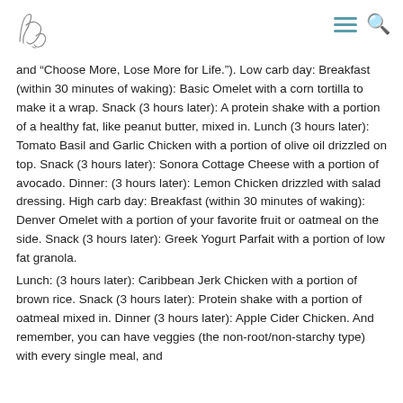[Logo and navigation icons]
and “Choose More, Lose More for Life.”). Low carb day: Breakfast (within 30 minutes of waking): Basic Omelet with a corn tortilla to make it a wrap. Snack (3 hours later): A protein shake with a portion of a healthy fat, like peanut butter, mixed in. Lunch (3 hours later): Tomato Basil and Garlic Chicken with a portion of olive oil drizzled on top. Snack (3 hours later): Sonora Cottage Cheese with a portion of avocado. Dinner: (3 hours later): Lemon Chicken drizzled with salad dressing. High carb day: Breakfast (within 30 minutes of waking): Denver Omelet with a portion of your favorite fruit or oatmeal on the side. Snack (3 hours later): Greek Yogurt Parfait with a portion of low fat granola.
Lunch: (3 hours later): Caribbean Jerk Chicken with a portion of brown rice. Snack (3 hours later): Protein shake with a portion of oatmeal mixed in. Dinner (3 hours later): Apple Cider Chicken. And remember, you can have veggies (the non-root/non-starchy type) with every single meal, and